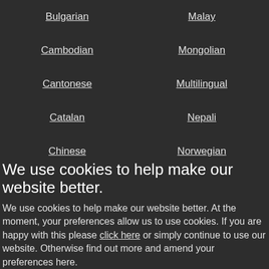Bulgarian
Malay
Cambodian
Mongolian
Cantonese
Multilingual
Catalan
Nepali
Chinese
Norwegian
Croatian
Panjabi
We use cookies to help make our website better.
We use cookies to help make our website better. At the moment, your preferences allow us to use cookies. If you are happy with this please click here or simply continue to use our website. Otherwise find out more and amend your preferences here.